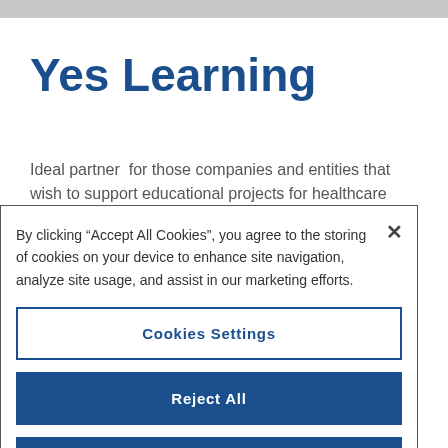Yes Learning
Ideal partner  for those companies and entities that wish to support educational projects for healthcare professionals, we
By clicking “Accept All Cookies”, you agree to the storing of cookies on your device to enhance site navigation, analyze site usage, and assist in our marketing efforts.
Cookies Settings
Reject All
Accept All Cookies